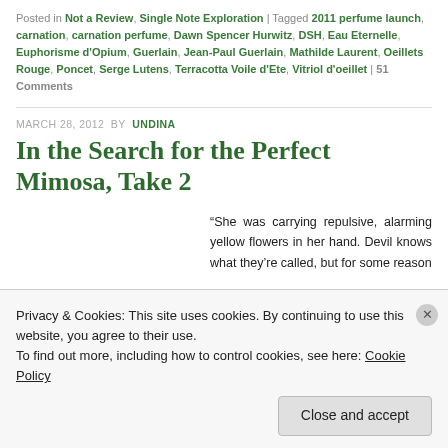Posted in Not a Review, Single Note Exploration | Tagged 2011 perfume launch, carnation, carnation perfume, Dawn Spencer Hurwitz, DSH, Eau Eternelle, Euphorisme d'Opium, Guerlain, Jean-Paul Guerlain, Mathilde Laurent, Oeillets Rouge, Poncet, Serge Lutens, Terracotta Voile d'Ete, Vitriol d'oeillet | 51 Comments
MARCH 28, 2012 BY UNDINA
In the Search for the Perfect Mimosa, Take 2
“She was carrying repulsive, alarming yellow flowers in her hand. Devil knows what they’re called, but for some reason
Privacy & Cookies: This site uses cookies. By continuing to use this website, you agree to their use.
To find out more, including how to control cookies, see here: Cookie Policy
Close and accept